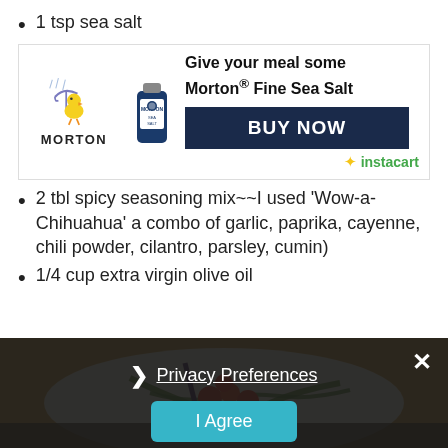1 tsp sea salt
[Figure (infographic): Morton Sea Salt advertisement banner with Morton logo, chick mascot, sea salt bottle, 'Give your meal some Morton® Fine Sea Salt' text, BUY NOW button, and Instacart logo]
2 tbl spicy seasoning mix~~I used 'Wow-a-Chihuahua' a combo of garlic, paprika, cayenne, chili powder, cilantro, parsley, cumin)
1/4 cup extra virgin olive oil
[Figure (photo): Food photo showing roasted/grilled vegetables including peppers and tomatoes on a white plate with dark background]
[Figure (infographic): Privacy preferences overlay with dark background, close X button, Privacy Preferences link with right chevron, and I Agree button in teal]